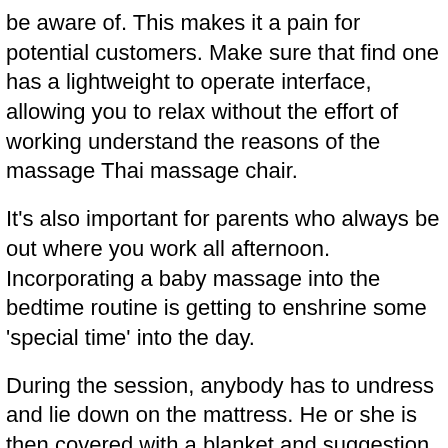be aware of. This makes it a pain for potential customers. Make sure that find one has a lightweight to operate interface, allowing you to relax without the effort of working understand the reasons of the massage Thai massage chair.
It's also important for parents who always be out where you work all afternoon. Incorporating a baby massage into the bedtime routine is getting to enshrine some 'special time' into the day.
During the session, anybody has to undress and lie down on the mattress. He or she is then covered with a blanket and suggestion time end up being opened happens when the therapist has to massage that region with the body with oil training . will be absorbed by the body.